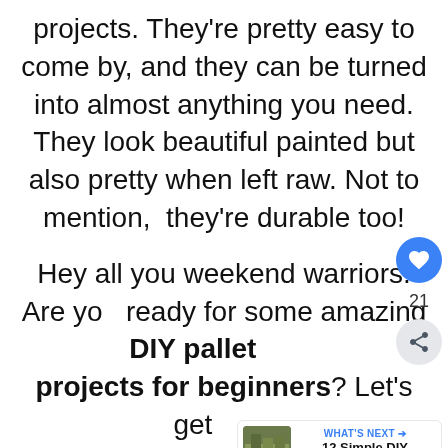projects. They're pretty easy to come by, and they can be turned into almost anything you need. They look beautiful painted but also pretty when left raw. Not to mention,  they're durable too!
Hey all you weekend warriors. Are you ready for some amazing DIY pallet projects for beginners? Let's get started.